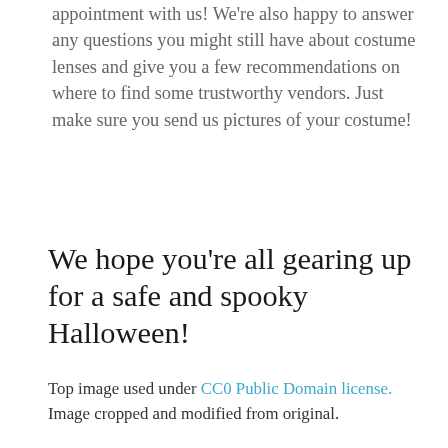appointment with us! We're also happy to answer any questions you might still have about costume lenses and give you a few recommendations on where to find some trustworthy vendors. Just make sure you send us pictures of your costume!
We hope you're all gearing up for a safe and spooky Halloween!
Top image used under CC0 Public Domain license. Image cropped and modified from original.
The content on this blog is not intended to be a substitute for professional medical advice, diagnosis, or treatment. Always seek the advice of qualified health providers with questions you may have regarding medical conditions.
Posted On: September 23, 2020 @ 9:57pm
Posted In: Vision Tips